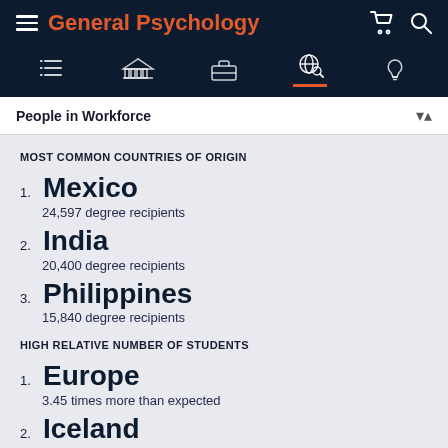General Psychology
MOST COMMON COUNTRIES OF ORIGIN
1. Mexico
24,597 degree recipients
2. India
20,400 degree recipients
3. Philippines
15,840 degree recipients
HIGH RELATIVE NUMBER OF STUDENTS
1. Europe
3.45 times more than expected
2. Iceland
3.2 times more than expected